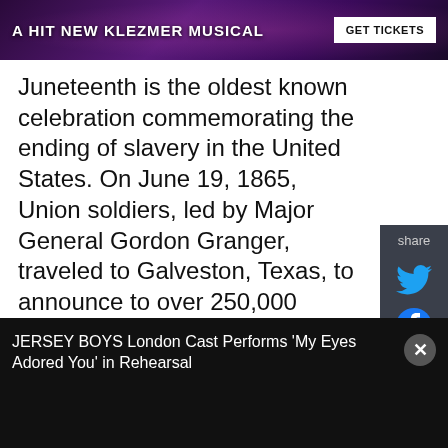[Figure (screenshot): Banner advertisement for 'A Hit New Klezmer Musical' with a 'GET TICKETS' button on a dark purple background]
Juneteenth is the oldest known celebration commemorating the ending of slavery in the United States. On June 19, 1865, Union soldiers, led by Major General Gordon Granger, traveled to Galveston, Texas, to announce to over 250,000 enslaved people that they were free. President Abraham Lincoln issued the Emancipation Proclamation two and a half years earlier, but the word had not reached Texas. The Dallas Historical Society has the only known original copy of the General Orders, and they will be on display at the Hall of State during the Juneteenth Celebration.
[Figure (screenshot): Share sidebar with Twitter and Facebook icons on dark background]
[Figure (screenshot): Video bar at bottom: JERSEY BOYS London Cast Performs 'My Eyes Adored You' in Rehearsal with close button]